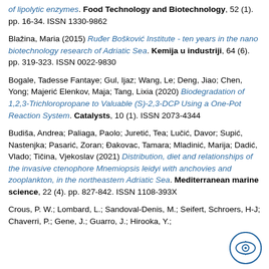of lipolytic enzymes. Food Technology and Biotechnology, 52 (1). pp. 16-34. ISSN 1330-9862
Blažina, Maria (2015) Ruđer Bošković Institute - ten years in the nano biotechnology research of Adriatic Sea. Kemija u industriji, 64 (6). pp. 319-323. ISSN 0022-9830
Bogale, Tadesse Fantaye; Gul, Ijaz; Wang, Le; Deng, Jiao; Chen, Yong; Majerić Elenkov, Maja; Tang, Lixia (2020) Biodegradation of 1,2,3-Trichloropropane to Valuable (S)-2,3-DCP Using a One-Pot Reaction System. Catalysts, 10 (1). ISSN 2073-4344
Budiša, Andrea; Paliaga, Paolo; Juretić, Tea; Lučić, Davor; Supić, Nastenjka; Pasarić, Zoran; Đakovac, Tamara; Mladinić, Marija; Dadić, Vlado; Tičina, Vjekoslav (2021) Distribution, diet and relationships of the invasive ctenophore Mnemiopsis leidyi with anchovies and zooplankton, in the northeastern Adriatic Sea. Mediterranean marine science, 22 (4). pp. 827-842. ISSN 1108-393X
Crous, P. W.; Lombard, L.; Sandoval-Denis, M.; Seifert, Schroers, H-J; Chaverri, P.; Gene, J.; Guarro, J.; Hirooka, Y.;